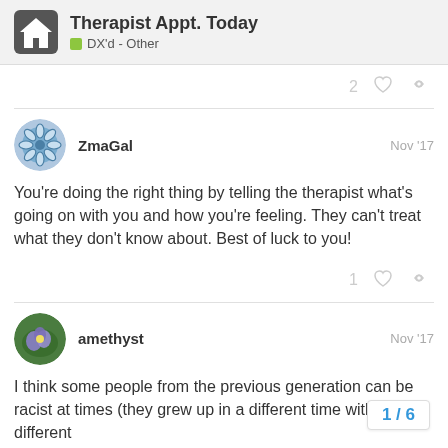Therapist Appt. Today — DX'd - Other
2
ZmaGal  Nov '17
You're doing the right thing by telling the therapist what's going on with you and how you're feeling. They can't treat what they don't know about. Best of luck to you!
1
amethyst  Nov '17
I think some people from the previous generation can be racist at times (they grew up in a different time with different expectations). My own family has problem trying very hard to rid myself of them. Not
1 / 6